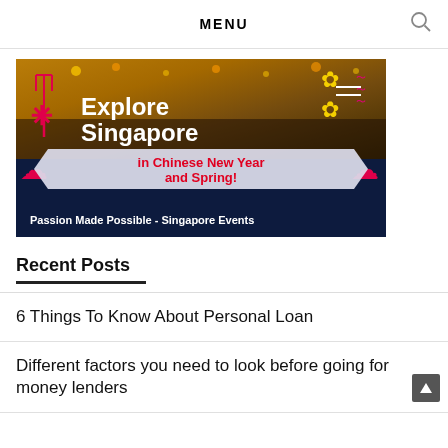MENU
[Figure (illustration): Singapore tourism banner: 'Explore Singapore in Chinese New Year and Spring! Passion Made Possible - Singapore Events' with festive decorations, crowd photo background, red and gold Chinese New Year motifs.]
Recent Posts
6 Things To Know About Personal Loan
Different factors you need to look before going for money lenders